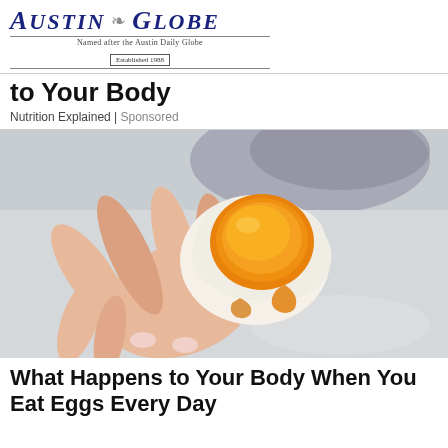Austin Globe — Named after the Austin Daily Globe, Established 1988
to Your Body
Nutrition Explained | Sponsored
[Figure (photo): A hand holding a soft-boiled egg cut in half, showing a bright orange-yellow runny yolk, with a blurred bowl and light background]
What Happens to Your Body When You Eat Eggs Every Day